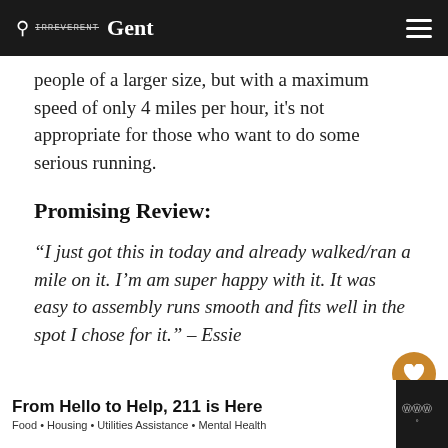Irreverent Gent
people of a larger size, but with a maximum speed of only 4 miles per hour, it's not appropriate for those who want to do some serious running.
Promising Review:
“I just got this in today and already walked/ran a mile on it. I’m am super happy with it. It was easy to assembly runs smooth and fits well in the spot I chose for it.” – Essie
Check Price ►
From Hello to Help, 211 is Here • Food • Housing • Utilities Assistance • Mental Health